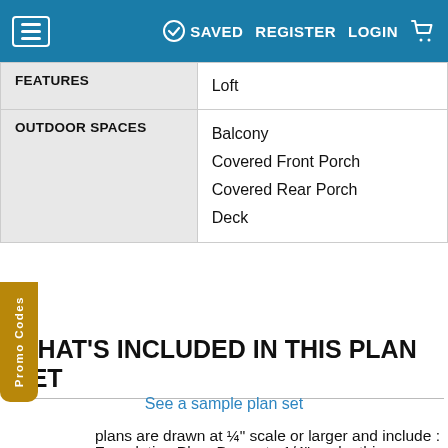≡  ✓ SAVED  REGISTER  LOGIN  🛒
| FEATURES | Loft |
| OUTDOOR SPACES | Balcony
Covered Front Porch
Covered Rear Porch
Deck |
WHAT'S INCLUDED IN THIS PLAN SET
See a sample plan set
plans are drawn at ¼" scale or larger and include :
Foundation Plan: Drawn to 1/4" scale, this page shows all necessary notations and dimensions including support columns, walls and excavated and unexcavated areas.
Exterior Elevations: Add...